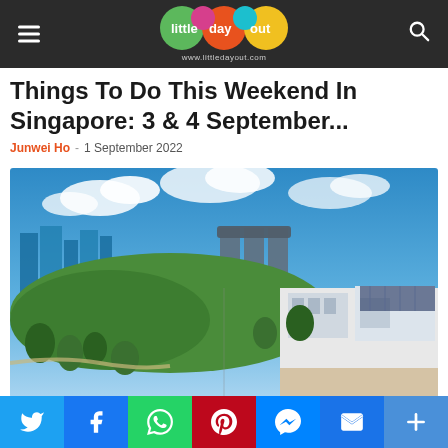little day out – www.littledayout.com
Things To Do This Weekend In Singapore: 3 & 4 September...
Junwei Ho - 1 September 2022
[Figure (photo): Aerial/wide-angle photo of Singapore showing Marina Bay Sands skyline on the left and a modern white building complex on the right, with lush greenery in the foreground.]
Social sharing buttons: Twitter, Facebook, WhatsApp, Pinterest, Messenger, Email, More